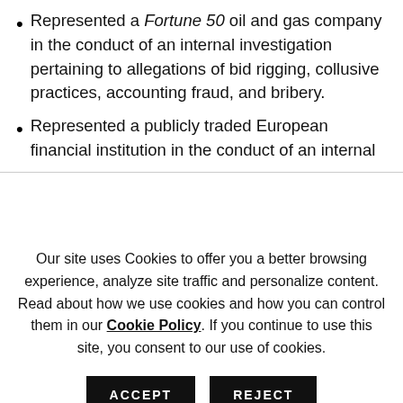Represented a Fortune 50 oil and gas company in the conduct of an internal investigation pertaining to allegations of bid rigging, collusive practices, accounting fraud, and bribery.
Represented a publicly traded European financial institution in the conduct of an internal
Our site uses Cookies to offer you a better browsing experience, analyze site traffic and personalize content. Read about how we use cookies and how you can control them in our Cookie Policy. If you continue to use this site, you consent to our use of cookies.